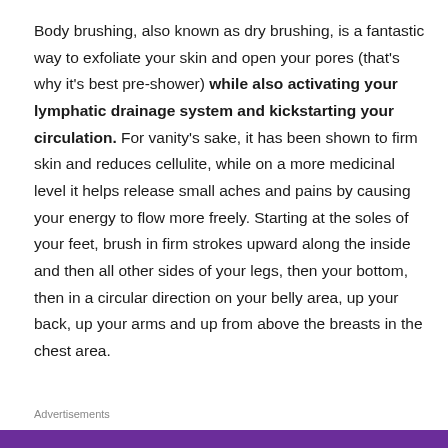Body brushing, also known as dry brushing, is a fantastic way to exfoliate your skin and open your pores (that's why it's best pre-shower) while also activating your lymphatic drainage system and kickstarting your circulation. For vanity's sake, it has been shown to firm skin and reduces cellulite, while on a more medicinal level it helps release small aches and pains by causing your energy to flow more freely. Starting at the soles of your feet, brush in firm strokes upward along the inside and then all other sides of your legs, then your bottom, then in a circular direction on your belly area, up your back, up your arms and up from above the breasts in the chest area.
Advertisements